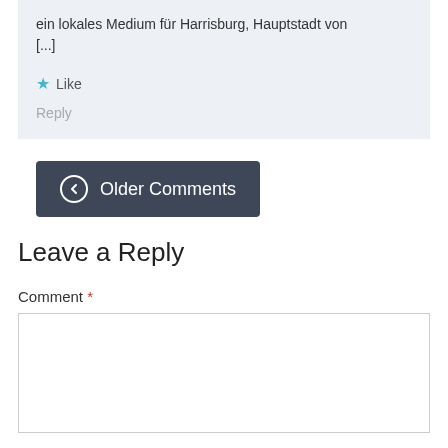ein lokales Medium für Harrisburg, Hauptstadt von [...]
★ Like
Reply
← Older Comments
Leave a Reply
Comment *